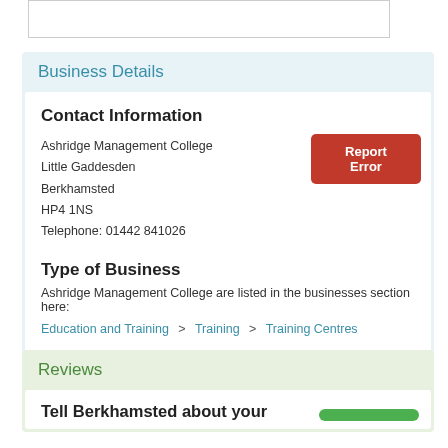Business Details
Contact Information
Ashridge Management College
Little Gaddesden
Berkhamsted
HP4 1NS
Telephone: 01442 841026
Type of Business
Ashridge Management College are listed in the businesses section here:
Education and Training > Training > Training Centres
Reviews
Tell Berkhamsted about your